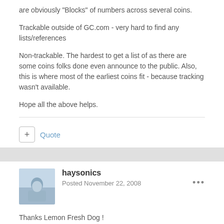are obviously "Blocks" of numbers across several coins.
Trackable outside of GC.com - very hard to find any lists/references
Non-trackable. The hardest to get a list of as there are some coins folks done even announce to the public. Also, this is where most of the earliest coins fit - because tracking wasn't available.
Hope all the above helps.
Quote
haysonics
Posted November 22, 2008
Thanks Lemon Fresh Dog !